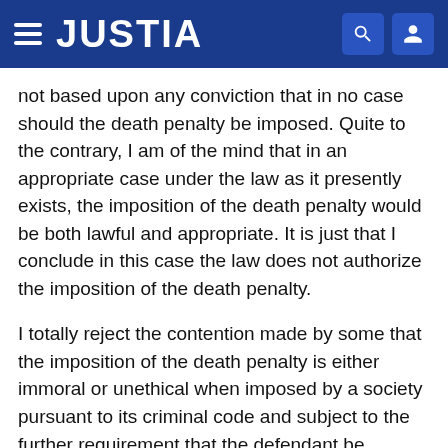JUSTIA
not based upon any conviction that in no case should the death penalty be imposed. Quite to the contrary, I am of the mind that in an appropriate case under the law as it presently exists, the imposition of the death penalty would be both lawful and appropriate. It is just that I conclude in this case the law does not authorize the imposition of the death penalty.
I totally reject the contention made by some that the imposition of the death penalty is either immoral or unethical when imposed by a society pursuant to its criminal code and subject to the further requirement that the defendant be afforded due process of law. We find the imposition of capital punishment in an appropriate case provided for as early as the Mosaic Code and perhaps even before. I have difficulty concluding that that which is embodied in the Mosaic